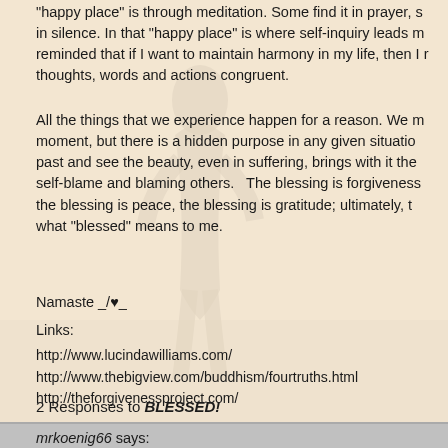"happy place" is through meditation. Some find it in prayer, s in silence. In that "happy place" is where self-inquiry leads m reminded that if I want to maintain harmony in my life, then I r thoughts, words and actions congruent.
All the things that we experience happen for a reason. We m moment, but there is a hidden purpose in any given situatio past and see the beauty, even in suffering, brings with it the self-blame and blaming others.   The blessing is forgiveness the blessing is peace, the blessing is gratitude; ultimately, t what "blessed" means to me.
Namaste _/♥_
Links:
http://www.lucindawilliams.com/
http://www.thebigview.com/buddhism/fourtruths.html
http://theforgivenessproject.com/
2 Responses to BLESSED!
mrkoenig66 says: